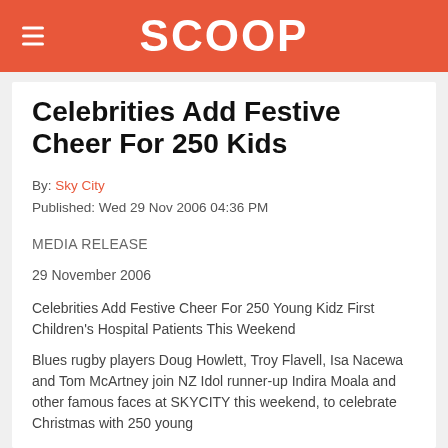SCOOP
Celebrities Add Festive Cheer For 250 Kids
By: Sky City
Published: Wed 29 Nov 2006 04:36 PM
MEDIA RELEASE
29 November 2006
Celebrities Add Festive Cheer For 250 Young Kidz First Children's Hospital Patients This Weekend
Blues rugby players Doug Howlett, Troy Flavell, Isa Nacewa and Tom McArtney join NZ Idol runner-up Indira Moala and other famous faces at SKYCITY this weekend, to celebrate Christmas with 250 young